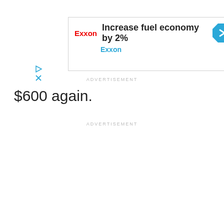[Figure (other): Exxon advertisement banner with logo, headline 'Increase fuel economy by 2%', blue navigation icon, Exxon sub-label, play and close controls]
ADVERTISEMENT
$600 again.
ADVERTISEMENT